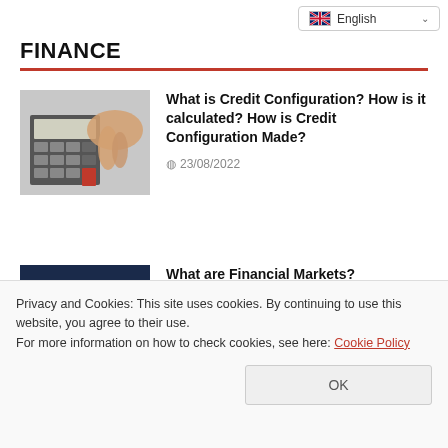English
FINANCE
[Figure (photo): Hand pressing calculator keys, financial/accounting context]
What is Credit Configuration? How is it calculated? How is Credit Configuration Made?
23/08/2022
[Figure (photo): Person holding glowing 3D bar chart cubes, financial markets concept]
What are Financial Markets?
19/08/2022
[Figure (photo): Partially visible article thumbnail, financial theme]
Banks With The Highest Retirement
Privacy and Cookies: This site uses cookies. By continuing to use this website, you agree to their use.
For more information on how to check cookies, see here: Cookie Policy
OK